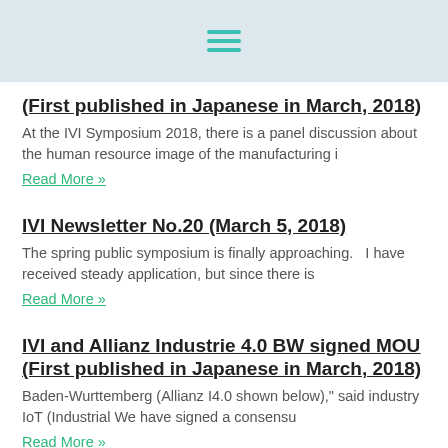[hamburger menu icon]
(First published in Japanese in March, 2018)
At the IVI Symposium 2018, there is a panel discussion about the human resource image of the manufacturing i
Read More »
IVI Newsletter No.20 (March 5, 2018)
The spring public symposium is finally approaching.   I have received steady application, but since there is
Read More »
IVI and Allianz Industrie 4.0 BW signed MOU (First published in Japanese in March, 2018)
Baden-Wurttemberg (Allianz I4.0 shown below)," said industry IoT (Industrial We have signed a consensu
Read More »